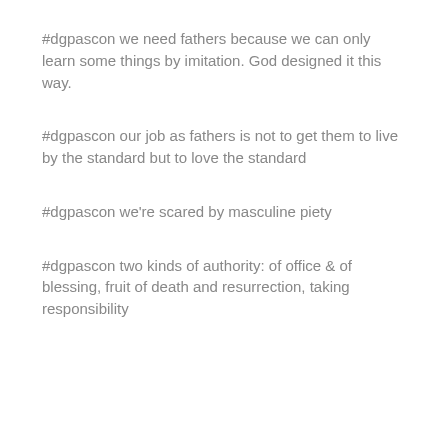#dgpascon we need fathers because we can only learn some things by imitation. God designed it this way.
#dgpascon our job as fathers is not to get them to live by the standard but to love the standard
#dgpascon we're scared by masculine piety
#dgpascon two kinds of authority: of office & of blessing, fruit of death and resurrection, taking responsibility